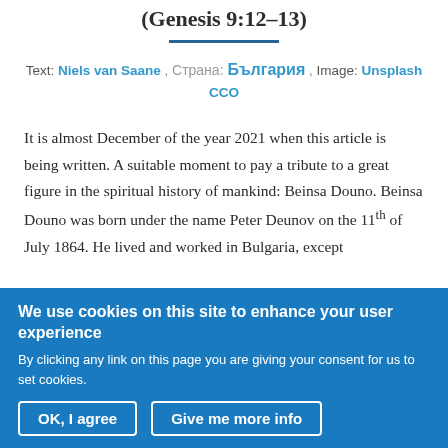(Genesis 9:12–13)
Text: Niels van Saane , Страна: България , Image: Unsplash CCO
It is almost December of the year 2021 when this article is being written. A suitable moment to pay a tribute to a great figure in the spiritual history of mankind: Beinsa Douno. Beinsa Douno was born under the name Peter Deunov on the 11th of July 1864. He lived and worked in Bulgaria, except
We use cookies on this site to enhance your user experience
By clicking any link on this page you are giving your consent for us to set cookies.
OK, I agree   Give me more info